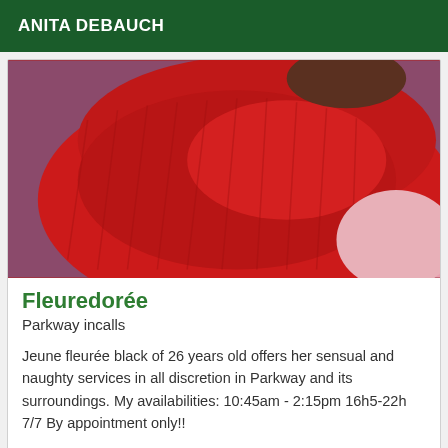ANITA DEBAUCH
[Figure (photo): Close-up photo of red fabric/clothing item against a purple and pink background]
Fleuredorée
Parkway incalls
Jeune fleurée black of 26 years old offers her sensual and naughty services in all discretion in Parkway and its surroundings. My availabilities: 10:45am - 2:15pm 16h5-22h 7/7 By appointment only!!